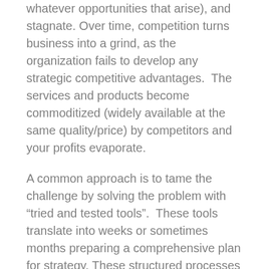whatever opportunities that arise), and stagnate. Over time, competition turns business into a grind, as the organization fails to develop any strategic competitive advantages.  The services and products become commoditized (widely available at the same quality/price) by competitors and your profits evaporate.
A common approach is to tame the challenge by solving the problem with “tried and tested tools”.  These tools translate into weeks or sometimes months preparing a comprehensive plan for strategy. These structured processes sterilize the planning process down to a methodology.  They seek to avoid the need to discuss the “disagreeables”. Disagreeables are simply the discussion topics where people disagree, see it differently.  The problem is the aversion (often culture based) to disagreeing eliminates the possibility of discovering the best alternatives.  The truth is that it upsets most of us